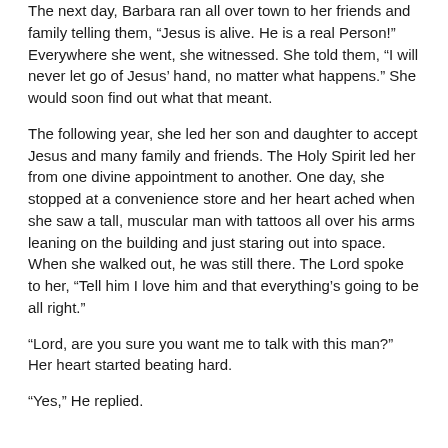The next day, Barbara ran all over town to her friends and family telling them, “Jesus is alive. He is a real Person!” Everywhere she went, she witnessed. She told them, “I will never let go of Jesus’ hand, no matter what happens.” She would soon find out what that meant.
The following year, she led her son and daughter to accept Jesus and many family and friends. The Holy Spirit led her from one divine appointment to another. One day, she stopped at a convenience store and her heart ached when she saw a tall, muscular man with tattoos all over his arms leaning on the building and just staring out into space. When she walked out, he was still there. The Lord spoke to her, “Tell him I love him and that everything’s going to be all right.”
“Lord, are you sure you want me to talk with this man?” Her heart started beating hard.
“Yes,” He replied.